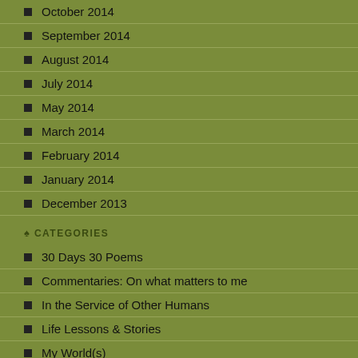October 2014
September 2014
August 2014
July 2014
May 2014
March 2014
February 2014
January 2014
December 2013
CATEGORIES
30 Days 30 Poems
Commentaries: On what matters to me
In the Service of Other Humans
Life Lessons & Stories
My World(s)